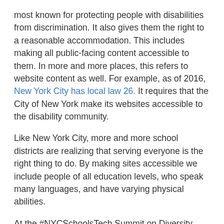most known for protecting people with disabilities from discrimination. It also gives them the right to a reasonable accommodation. This includes making all public-facing content accessible to them. In more and more places, this refers to website content as well. For example, as of 2016, New York City has local law 26. It requires that the City of New York make its websites accessible to the disability community.
Like New York City, more and more school districts are realizing that serving everyone is the right thing to do. By making sites accessible we include people of all education levels, who speak many languages, and have varying physical abilities.
At the #NYCSchoolsTech Summit on Diversity Matters, educators discussed the following do's and don'ts to keep in mind to help ensure school websites are accessible.
Do's